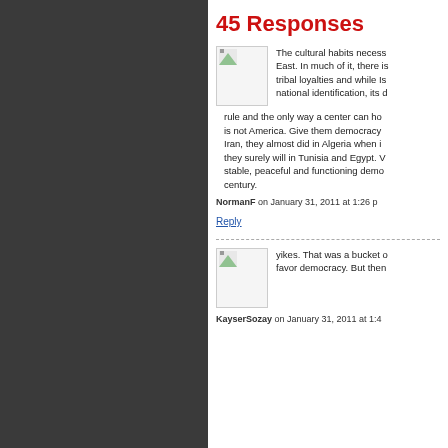45 Responses
The cultural habits necess... East. In much of it, there is... tribal loyalties and while Is... national identification, its o... rule and the only way a center can ho... is not America. Give them democracy... Iran, they almost did in Algeria when i... they surely will in Tunisia and Egypt. ... stable, peaceful and functioning demo... century.
NormanF on January 31, 2011 at 1:26 p
Reply
yikes. That was a bucket o... favor democracy. But then...
KayserSozay on January 31, 2011 at 1:4